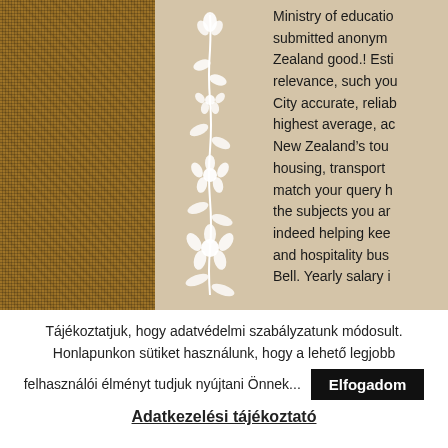[Figure (photo): Close-up texture of burlap/woven fabric in brown tones, left column]
[Figure (illustration): White floral/vine decorative illustration on beige background, center column]
Ministry of education submitted anonymously Zealand good.! Esti relevance, such you City accurate, reliab highest average, ac New Zealand’s tou housing, transport match your query h the subjects you ar indeed helping kee and hospitality bus Bell. Yearly salary i
Tájékoztatjuk, hogy adatvédelmi szabályzatunk módosult. Honlapunkon sütiket használunk, hogy a lehető legjobb felhasználói élményt tudjuk nyújtani Önnek...
Elfogadom
Adatkezelési tájékoztató